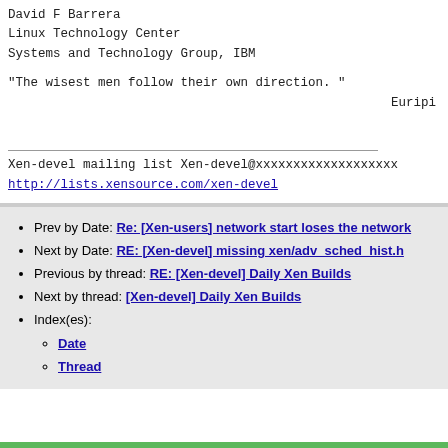David F Barrera
Linux Technology Center
Systems and Technology Group, IBM

"The wisest men follow their own direction. "
                                            Euripi
Xen-devel mailing list
Xen-devel@xxxxxxxxxxxxxxxxxxx
http://lists.xensource.com/xen-devel
Prev by Date: Re: [Xen-users] network start loses the network
Next by Date: RE: [Xen-devel] missing xen/adv_sched_hist.h
Previous by thread: RE: [Xen-devel] Daily Xen Builds
Next by thread: [Xen-devel] Daily Xen Builds
Index(es): Date, Thread